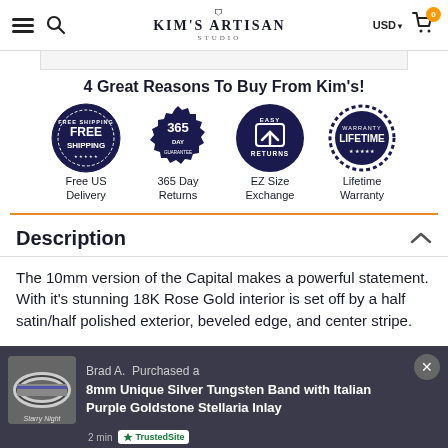KIM'S ARTISAN STUDIO — USD — Cart 0
4 Great Reasons To Buy From Kim's!
[Figure (infographic): Four badge icons: Free Shipping, 365 Day Returns, EZ Size Exchange, Lifetime Warranty]
Description
The 10mm version of the Capital makes a powerful statement. With it's stunning 18K Rose Gold interior is set off by a half satin/half polished exterior, beveled edge, and center stripe.
Brad A.  Purchased a
8mm Unique Silver Tungsten Band with Italian Purple Goldstone Stellaria Inlay